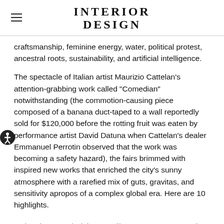INTERIOR DESIGN
craftsmanship, feminine energy, water, political protest, ancestral roots, sustainability, and artificial intelligence.
The spectacle of Italian artist Maurizio Cattelan’s attention-grabbing work called “Comedian” notwithstanding (the commotion-causing piece composed of a banana duct-taped to a wall reportedly sold for $120,000 before the rotting fruit was eaten by performance artist David Datuna when Cattelan’s dealer Emmanuel Perrotin observed that the work was becoming a safety hazard), the fairs brimmed with inspired new works that enriched the city’s sunny atmosphere with a rarefied mix of guts, gravitas, and sensitivity apropos of a complex global era. Here are 10 highlights.
Sebastien Devaud with Compendium 14 01 201, 2019 and Compendium 14 06 202, 2019. Photography courtesy of RGB